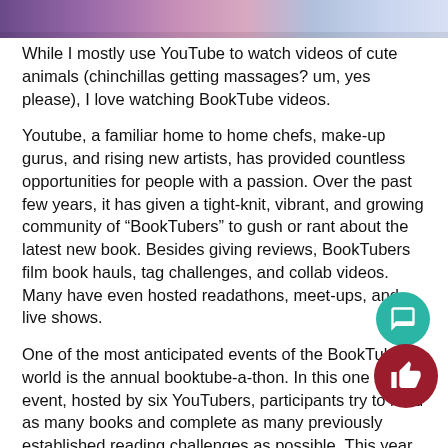[Figure (photo): Partial image of people or decorative scene at top of page, colorful purple and blue tones]
While I mostly use YouTube to watch videos of cute animals (chinchillas getting massages? um, yes please), I love watching BookTube videos.
Youtube, a familiar home to home chefs, make-up gurus, and rising new artists, has provided countless opportunities for people with a passion. Over the past few years, it has given a tight-knit, vibrant, and growing community of “BookTubers” to gush or rant about the latest new book. Besides giving reviews, BookTubers film book hauls, tag challenges, and collab videos. Many have even hosted readathons, meet-ups, and live shows.
One of the most anticipated events of the BookTube world is the annual booktube-a-thon. In this one week event, hosted by six YouTubers, participants try to read as many books and complete as many previously established reading challenges as possible. This year, participants could even upload their own daily video online to complete a “Youtube Challenge” and win a free book.